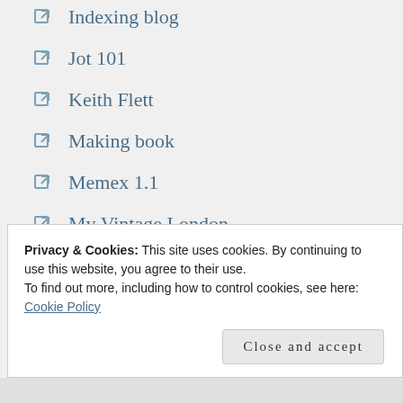Indexing blog
Jot 101
Keith Flett
Making book
Memex 1.1
My Vintage London
New Historical Express
Past Print
Quad Royal
Sarah's notebook
Privacy & Cookies: This site uses cookies. By continuing to use this website, you agree to their use. To find out more, including how to control cookies, see here: Cookie Policy
Close and accept